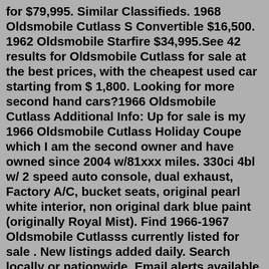for $79,995. Similar Classifieds. 1968 Oldsmobile Cutlass S Convertible $16,500. 1962 Oldsmobile Starfire $34,995.See 42 results for Oldsmobile Cutlass for sale at the best prices, with the cheapest used car starting from $ 1,800. Looking for more second hand cars?1966 Oldsmobile Cutlass Additional Info: Up for sale is my 1966 Oldsmobile Cutlass Holiday Coupe which I am the second owner and have owned since 2004 w/81xxx miles. 330ci 4bl w/ 2 speed auto console, dual exhaust, Factory A/C, bucket seats, original pearl white interior, non original dark blue paint (originally Royal Mist). Find 1966-1967 Oldsmobile Cutlasss currently listed for sale . New listings added daily. Search locally or nationwide. Email alerts available. 1966 Oldsmobile Cutlass Cars For Sale (1 - 15 of 28) $27,500 1966 Oldsmobile Cutlass Blue, 62K miles 62,000 miles · Blue · Milford, OH Air Conditioning, Bucket Seats, Power Steering, RARE BODY STYLE COLOR AND TRANS OPTION 6 days ago on JTZ Enterprise $30,000 1966 Oldsmobile Cutlass 442 Charlotte, NC Used Blue 1966!